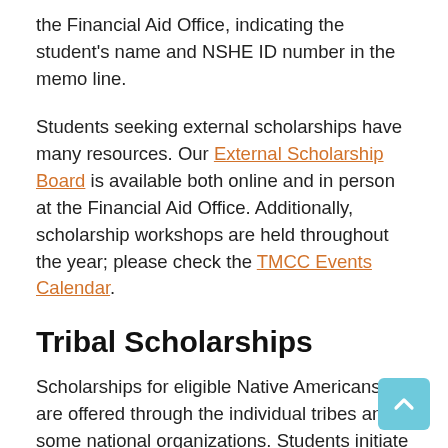the Financial Aid Office, indicating the student's name and NSHE ID number in the memo line.
Students seeking external scholarships have many resources. Our External Scholarship Board is available both online and in person at the Financial Aid Office. Additionally, scholarship workshops are held throughout the year; please check the TMCC Events Calendar.
Tribal Scholarships
Scholarships for eligible Native Americans are offered through the individual tribes and some national organizations. Students initiate the application process by contacting their respective